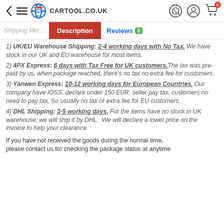CARTOOL.CO.UK navigation bar with back, menu, logo, chat, account, and cart icons
Shipping Methods | Description | Reviews 0
1) UK/EU Warehouse Shipping: 2-4 working days with No Tax. We have stock in our UK and EU warehouse for most items.
2) 4PX Express: 6 days with Tax Free for UK customers. The tax was pre-paid by us, when package reached, there's no tax no extra fee for customers.
3) Yanwen Express: 10-12 working days for European Countries. Our company have IOSS, declare under 150 EUR, seller pay tax, customers no need to pay tax, So usually no tax or extra fee for EU customers.
4) DHL Shipping: 3-5 working days. For the items have no stock in UK warehouse, we will ship it by DHL. We will declare a lower price on the invoice to help your clearance.
If you have not received the goods during the normal time, please contact us for checking the package status at anytime.